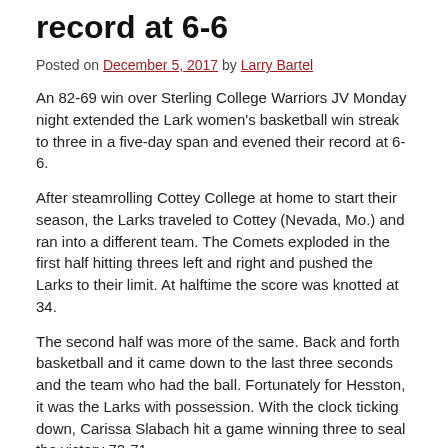record at 6-6
Posted on December 5, 2017 by Larry Bartel
An 82-69 win over Sterling College Warriors JV Monday night extended the Lark women's basketball win streak to three in a five-day span and evened their record at 6-6.
After steamrolling Cottey College at home to start their season, the Larks traveled to Cottey (Nevada, Mo.) and ran into a different team. The Comets exploded in the first half hitting threes left and right and pushed the Larks to their limit. At halftime the score was knotted at 34.
The second half was more of the same. Back and forth basketball and it came down to the last three seconds and the team who had the ball. Fortunately for Hesston, it was the Larks with possession. With the clock ticking down, Carissa Slabach hit a game winning three to seal the victory 72-71.
For second-year head coach Jeff Jacobs, this was his first road win. “The girls really deserve it, we’ve put in hard work,” said